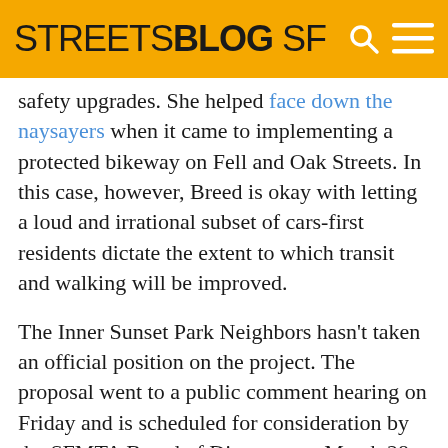STREETSBLOG SF
safety upgrades. She helped face down the naysayers when it came to implementing a protected bikeway on Fell and Oak Streets. In this case, however, Breed is okay with letting a loud and irrational subset of cars-first residents dictate the extent to which transit and walking will be improved.
The Inner Sunset Park Neighbors hasn't taken an official position on the project. The proposal went to a public comment hearing on Friday and is scheduled for consideration by the SFMTA Board of Directors on March 28.
Update: In the comment section of this article, Johnston said that appeasing opponents is important to ensure support for the Muni Transit